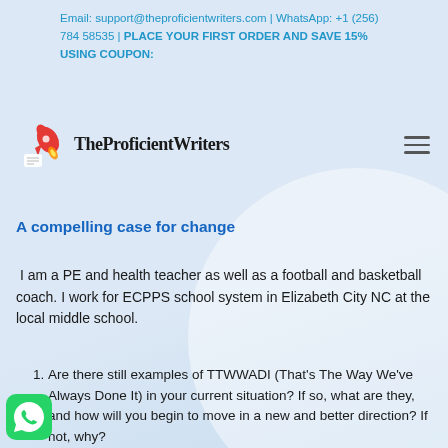Email: support@theproficientwriters.com | WhatsApp: +1 (256) 784 58535 | PLACE YOUR FIRST ORDER AND SAVE 15% USING COUPON:
[Figure (logo): TheProficientWriters logo with rocket icon]
A compelling case for change
I am a PE and health teacher as well as a football and basketball coach. I work for ECPPS school system in Elizabeth City NC at the local middle school.
Are there still examples of TTWWADI (That's The Way We've Always Done It) in your current situation? If so, what are they, and how will you begin to move in a new and better direction? If not, why?